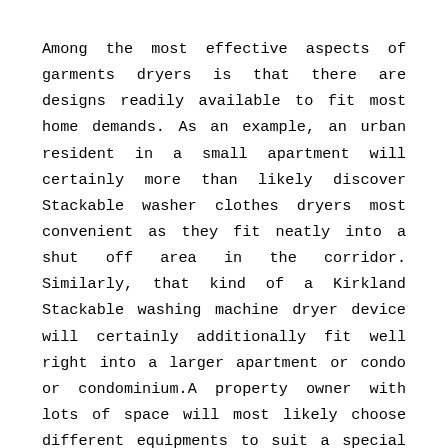Among the most effective aspects of garments dryers is that there are designs readily available to fit most home demands. As an example, an urban resident in a small apartment will certainly more than likely discover Stackable washer clothes dryers most convenient as they fit neatly into a shut off area in the corridor. Similarly, that kind of a Kirkland Stackable washing machine dryer device will certainly additionally fit well right into a larger apartment or condo or condominium.A property owner with lots of space will most likely choose different equipments to suit a special utility room in the house or in the garage. Most of us take it for given that washing as well as drying our garments conveniently is a rational as well as required feature we need in order to have the ability to perform our